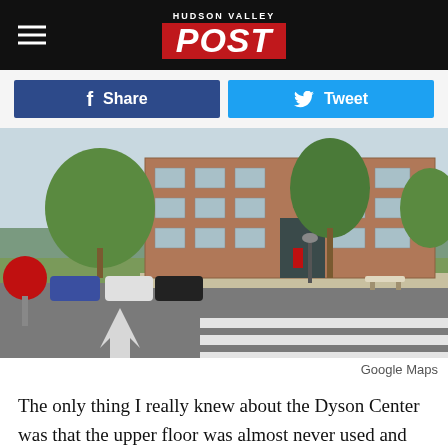HUDSON VALLEY POST
[Figure (screenshot): Share button (Facebook) and Tweet button (Twitter) on a news article page]
[Figure (photo): Google Maps street view photo of the Dyson Center building, a multi-story brick building on a college campus with cars parked along the road and trees visible]
Google Maps
The only thing I really knew about the Dyson Center was that the upper floor was almost never used and had the cleanest public restroom on campus, which came in handy for